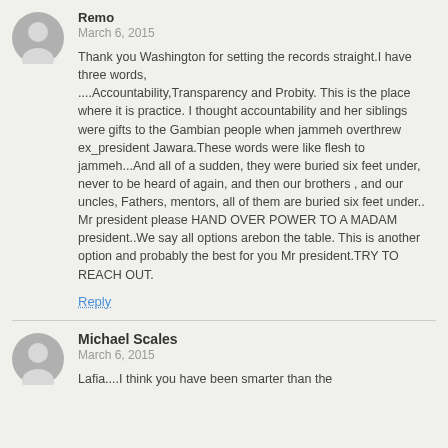Remo
March 6, 2015
Thank you Washington for setting the records straight.I have three words, ....Accountability,Transparency and Probity. This is the place where it is practice. I thought accountability and her siblings were gifts to the Gambian people when jammeh overthrew ex_president Jawara.These words were like flesh to jammeh...And all of a sudden, they were buried six feet under, never to be heard of again, and then our brothers , and our uncles, Fathers, mentors, all of them are buried six feet under.. Mr president please HAND OVER POWER TO A MADAM president..We say all options arebon the table. This is another option and probably the best for you Mr president.TRY TO REACH OUT.
Reply
Michael Scales
March 6, 2015
Lafia....I think you have been smarter than the